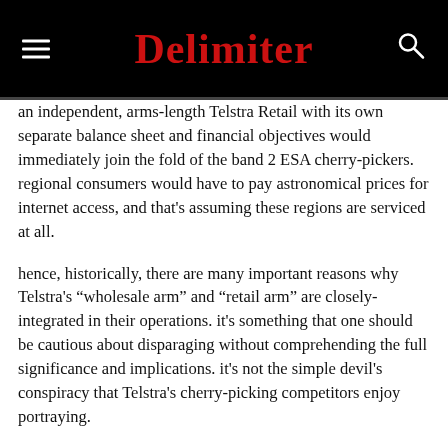Delimiter
an independent, arms-length Telstra Retail with its own separate balance sheet and financial objectives would immediately join the fold of the band 2 ESA cherry-pickers. regional consumers would have to pay astronomical prices for internet access, and that's assuming these regions are serviced at all.
hence, historically, there are many important reasons why Telstra's “wholesale arm” and “retail arm” are closely-integrated in their operations. it's something that one should be cautious about disparaging without comprehending the full significance and implications. it's not the simple devil's conspiracy that Telstra's cherry-picking competitors enjoy portraying.
*Instead of doing that, what about simply setting up an independent telecommunications dispute adjudicator chosen by a government-appointed panel of experts?*